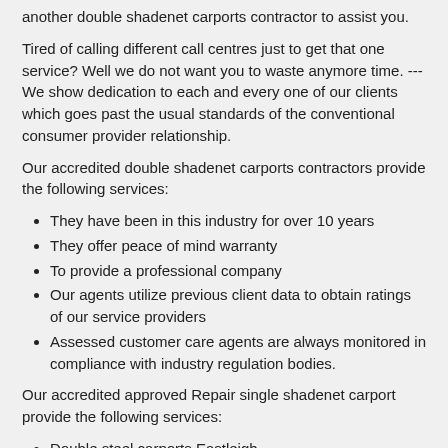another double shadenet carports contractor to assist you.
Tired of calling different call centres just to get that one service? Well we do not want you to waste anymore time. ---We show dedication to each and every one of our clients which goes past the usual standards of the conventional consumer provider relationship.
Our accredited double shadenet carports contractors provide the following services:
They have been in this industry for over 10 years
They offer peace of mind warranty
To provide a professional company
Our agents utilize previous client data to obtain ratings of our service providers
Assessed customer care agents are always monitored in compliance with industry regulation bodies.
Our accredited approved Repair single shadenet carport provide the following services:
Double steel carports Eastleigh
Shadenet cloth replacements Eastleigh
Install new metal carport Eastleigh
New shadenet carports Eastleigh
Carport installations Eastleigh
Repair single shadenet carport Eastleigh
Carport repairs Eastleigh